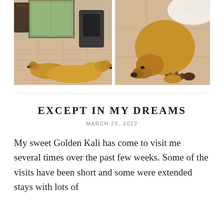[Figure (photo): Two golden retriever dogs lying together on a tiled floor indoors, with chairs and a wood stove in the background. One appears to be a puppy.]
[Figure (photo): A golden retriever dog curled up on a tiled floor, head resting down, with a rope toy nearby and another fluffy dog partially visible.]
EXCEPT IN MY DREAMS
MARCH 28, 2022
My sweet Golden Kali has come to visit me several times over the past few weeks. Some of the visits have been short and some were extended stays with lots of